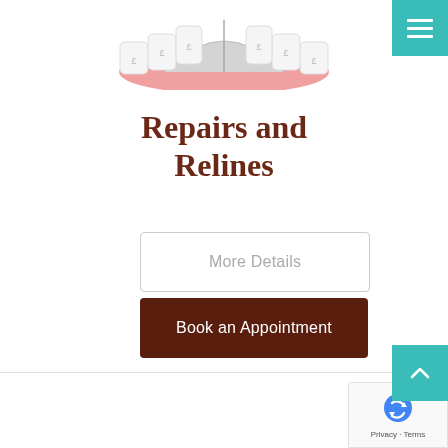[Figure (illustration): Illustration of lower dental arch/denture with teeth and pink gum tissue, viewed from below]
Repairs and Relines
More Details
Book an Appointment
[Figure (logo): reCAPTCHA badge with Google reCAPTCHA logo and Privacy - Terms text]